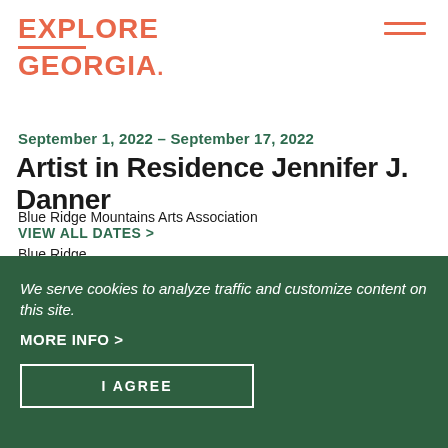EXPLORE GEORGIA
September 1, 2022 - September 17, 2022
Artist in Residence Jennifer J. Danner
Blue Ridge Mountains Arts Association
VIEW ALL DATES >
Blue Ridge
[Figure (illustration): Small Georgia state map outline illustration in salmon/coral color]
We serve cookies to analyze traffic and customize content on this site.
MORE INFO >
I AGREE